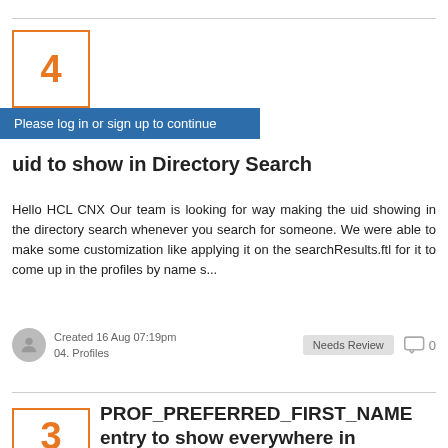4
Please log in or sign up to continue
uid to show in Directory Search
Hello HCL CNX Our team is looking for way making the uid showing in the directory search whenever you search for someone. We were able to make some customization like applying it on the searchResults.ftl for it to come up in the profiles by name s...
Created 16 Aug 07:19pm
04. Profiles
Needs Review
0
3
VOTE
PROF_PREFERRED_FIRST_NAME entry to show everywhere in Connections Environment
Hi! We made a customization in our environment where we made an